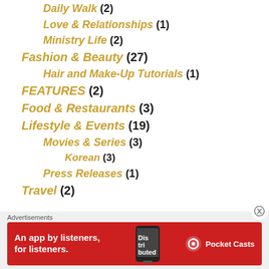Daily Walk (2)
Love & Relationships (1)
Ministry Life (2)
Fashion & Beauty (27)
Hair and Make-Up Tutorials (1)
FEATURES (2)
Food & Restaurants (3)
Lifestyle & Events (19)
Movies & Series (3)
Korean (3)
Press Releases (1)
Travel (2)
[Figure (other): Advertisement banner for Pocket Casts app — red background with text 'An app by listeners, for listeners.' and Pocket Casts logo]